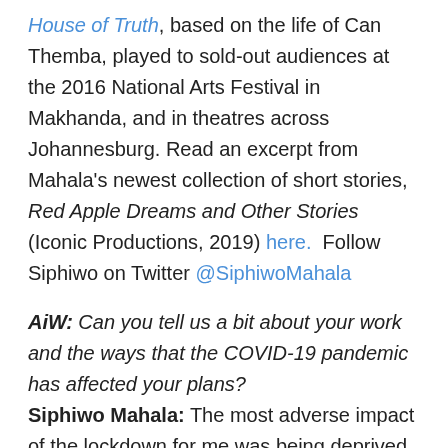House of Truth, based on the life of Can Themba, played to sold-out audiences at the 2016 National Arts Festival in Makhanda, and in theatres across Johannesburg. Read an excerpt from Mahala's newest collection of short stories, Red Apple Dreams and Other Stories (Iconic Productions, 2019) here.  Follow Siphiwo on Twitter @SiphiwoMahala
AiW: Can you tell us a bit about your work and the ways that the COVID-19 pandemic has affected your plans? Siphiwo Mahala: The most adverse impact of the lockdown for me was being deprived of the opportunity to interact directly with readers. I have missed out on many occasions where I was due to make presentations at conferences, book clubs and festivals like Time of the Writer. However, we were able to make up for this through the use of electronic media. Time of the Writer f...